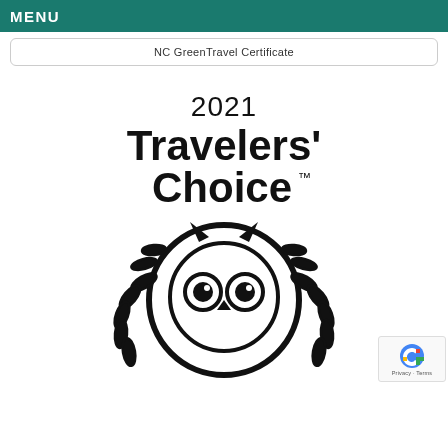MENU
NC GreenTravel Certificate
[Figure (logo): TripAdvisor 2021 Travelers' Choice award logo with owl mascot inside a circular emblem surrounded by laurel leaves, black and white]